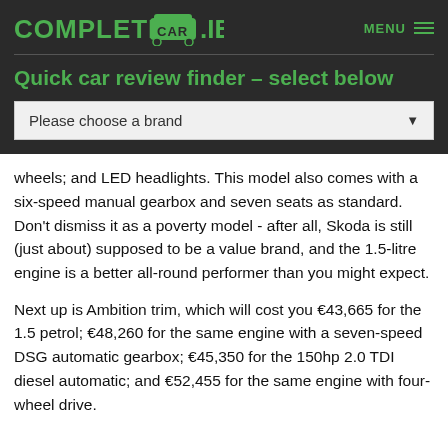COMPLETECAR.IE  MENU
Quick car review finder – select below
Please choose a brand
wheels; and LED headlights. This model also comes with a six-speed manual gearbox and seven seats as standard. Don't dismiss it as a poverty model - after all, Skoda is still (just about) supposed to be a value brand, and the 1.5-litre engine is a better all-round performer than you might expect.
Next up is Ambition trim, which will cost you €43,665 for the 1.5 petrol; €48,260 for the same engine with a seven-speed DSG automatic gearbox; €45,350 for the 150hp 2.0 TDI diesel automatic; and €52,455 for the same engine with four-wheel drive.